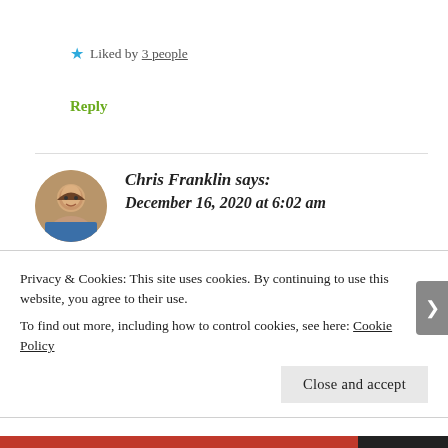★ Liked by 3 people
Reply
Chris Franklin says: December 16, 2020 at 6:02 am
Your welcome
Privacy & Cookies: This site uses cookies. By continuing to use this website, you agree to their use.
To find out more, including how to control cookies, see here: Cookie Policy